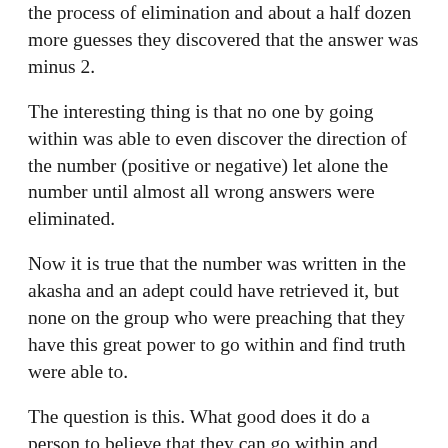the process of elimination and about a half dozen more guesses they discovered that the answer was minus 2.
The interesting thing is that no one by going within was able to even discover the direction of the number (positive or negative) let alone the number until almost all wrong answers were eliminated.
Now it is true that the number was written in the akasha and an adept could have retrieved it, but none on the group who were preaching that they have this great power to go within and find truth were able to.
The question is this. What good does it do a person to believe that they can go within and retrieve all knowledge when they cannot manifest that belief?
The final test of the validity of a belief is whether or not the belief can be demonstrated.
So how would you...